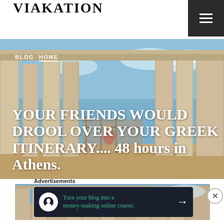VIAKATION
[Figure (photo): Greek temple columns (Acropolis/Parthenon) with a person in a red outfit, blue sky background. Hero image for travel blog post.]
BLOG  HOME
YOUR FRIENDS WOULD DROOL OVER YOUR GREEK ITINERARY.... 48 hours in Athens.
[Figure (photo): Second photo of Greek temple columns (Erechtheion/Acropolis) showing detailed ionic columns against blue sky.]
Advertisements
Turn your blog into a money-making online course.